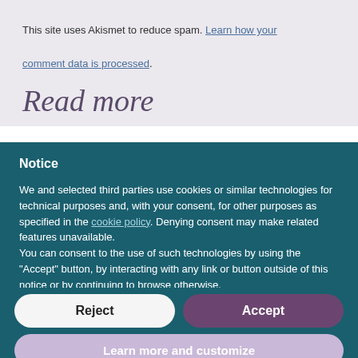This site uses Akismet to reduce spam. Learn how your comment data is processed.
Read more
Notice
We and selected third parties use cookies or similar technologies for technical purposes and, with your consent, for other purposes as specified in the cookie policy. Denying consent may make related features unavailable.
You can consent to the use of such technologies by using the “Accept” button, by interacting with any link or button outside of this notice or by continuing to browse otherwise.
Reject
Accept
Learn more and customize